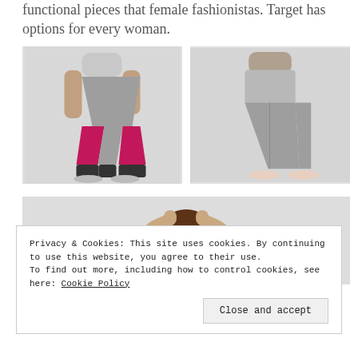functional pieces that female fashionistas. Target has options for every woman.
[Figure (photo): Woman wearing gray and magenta/pink color-block athletic leggings with black accents, gray sneakers, light gray background]
[Figure (photo): Woman wearing plain gray athletic leggings, light pink sneakers, gray background, back view]
[Figure (photo): Woman in athletic wear, arms raised behind head, partially visible]
Privacy & Cookies: This site uses cookies. By continuing to use this website, you agree to their use.
To find out more, including how to control cookies, see here: Cookie Policy
Close and accept